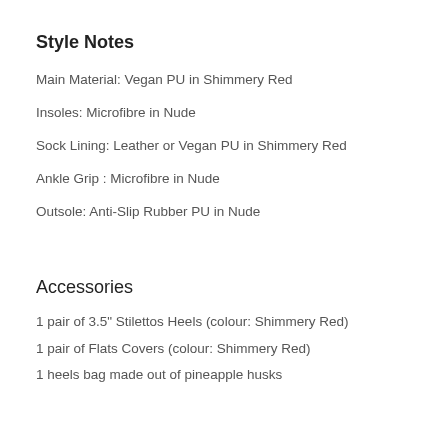Style Notes
Main Material: Vegan PU in Shimmery Red
Insoles: Microfibre in Nude
Sock Lining: Leather or Vegan PU in Shimmery Red
Ankle Grip : Microfibre in Nude
Outsole: Anti-Slip Rubber PU in Nude
Accessories
1 pair of 3.5" Stilettos Heels (colour: Shimmery Red)
1 pair of Flats Covers (colour: Shimmery Red)
1 heels bag made out of pineapple husks